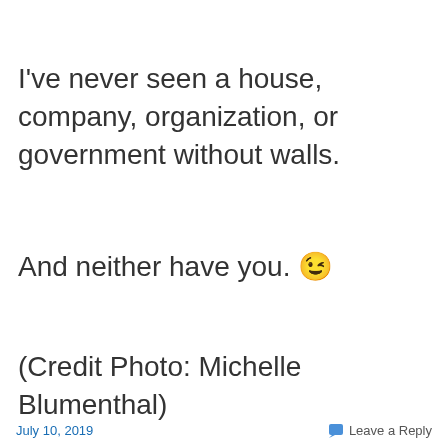I've never seen a house, company, organization, or government without walls.
And neither have you. 😉
(Credit Photo: Michelle Blumenthal)
July 10, 2019   💬 Leave a Reply